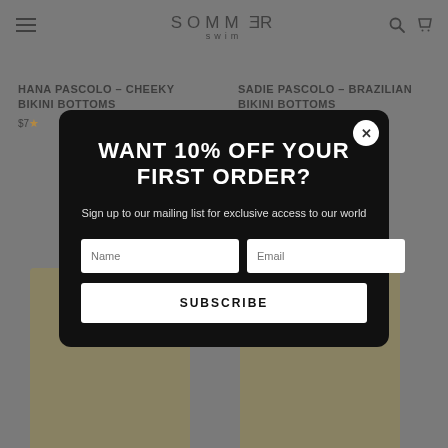SOMMER swim
HANA PASCOLO – CHEEKY BIKINI BOTTOMS
$7…
★
SADIE PASCOLO – BRAZILIAN BIKINI BOTTOMS
[Figure (screenshot): Email signup modal popup with black background over a swimwear e-commerce website]
WANT 10% OFF YOUR FIRST ORDER?
Sign up to our mailing list for exclusive access to our world
Name  |  Email
SUBSCRIBE